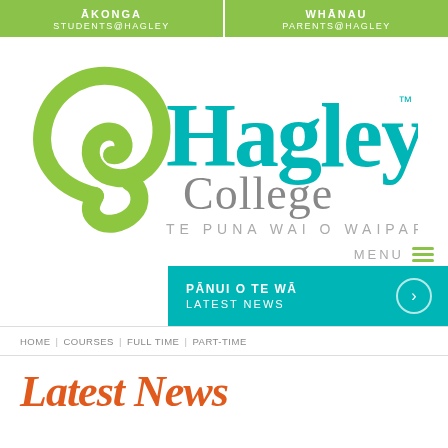ĀKONGA STUDENTS@HAGLEY | WHĀNAU PARENTS@HAGLEY
[Figure (logo): Hagley College logo with green koru spiral, teal 'Hagley' wordmark, grey 'College' text, and tagline 'TE PUNA WAI O WAIPAPA']
MENU
PĀNUI O TE WĀ LATEST NEWS
HOME | COURSES | FULL TIME | PART-TIME
Latest N...